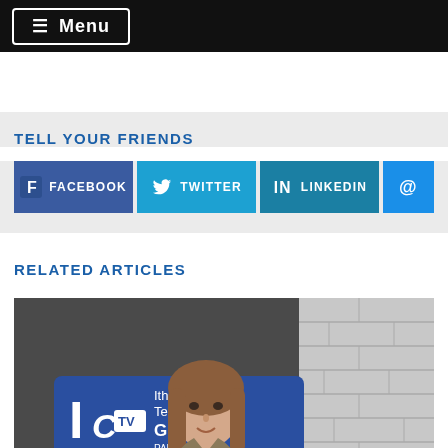≡ Menu
TELL YOUR FRIENDS
FACEBOOK | TWITTER | LINKEDIN | @
RELATED ARTICLES
[Figure (photo): Young woman smiling in front of Ithaca College Television Green Room sign, PARK 151]